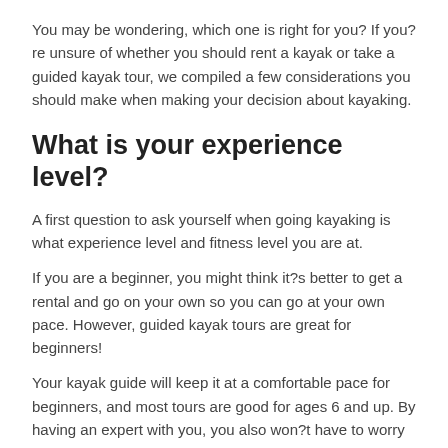You may be wondering, which one is right for you? If you?re unsure of whether you should rent a kayak or take a guided kayak tour, we compiled a few considerations you should make when making your decision about kayaking.
What is your experience level?
A first question to ask yourself when going kayaking is what experience level and fitness level you are at.
If you are a beginner, you might think it?s better to get a rental and go on your own so you can go at your own pace. However, guided kayak tours are great for beginners!
Your kayak guide will keep it at a comfortable pace for beginners, and most tours are good for ages 6 and up. By having an expert with you, you also won?t have to worry